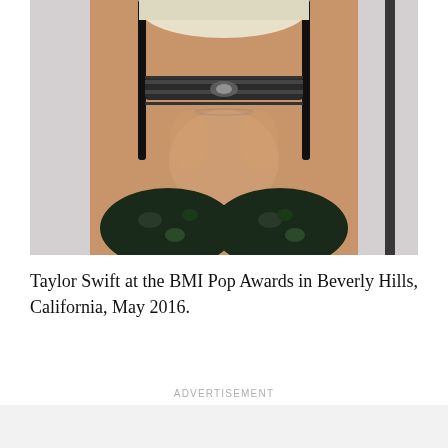[Figure (photo): Close-up photo of a woman with platinum blonde hair wearing a black choker necklace and a dark floral bra top, photographed from chin to chest level against a light background.]
Taylor Swift at the BMI Pop Awards in Beverly Hills, California, May 2016.
ADVERTISEMENT